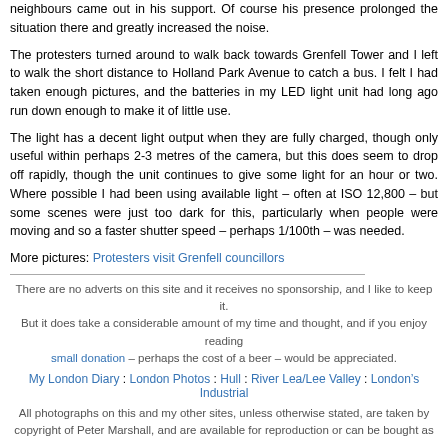neighbours came out in his support. Of course his presence prolonged the situation there and greatly increased the noise.
The protesters turned around to walk back towards Grenfell Tower and I left to walk the short distance to Holland Park Avenue to catch a bus. I felt I had taken enough pictures, and the batteries in my LED light unit had long ago run down enough to make it of little use.
The light has a decent light output when they are fully charged, though only useful within perhaps 2-3 metres of the camera, but this does seem to drop off rapidly, though the unit continues to give some light for an hour or two. Where possible I had been using available light – often at ISO 12,800 – but some scenes were just too dark for this, particularly when people were moving and so a faster shutter speed – perhaps 1/100th – was needed.
More pictures: Protesters visit Grenfell councillors
There are no adverts on this site and it receives no sponsorship, and I like to keep it. But it does take a considerable amount of my time and thought, and if you enjoy reading small donation – perhaps the cost of a beer – would be appreciated.
My London Diary : London Photos : Hull : River Lea/Lee Valley : London’s Industrial
All photographs on this and my other sites, unless otherwise stated, are taken by copyright of Peter Marshall, and are available for reproduction or can be bought as
To order prints or reproduce images